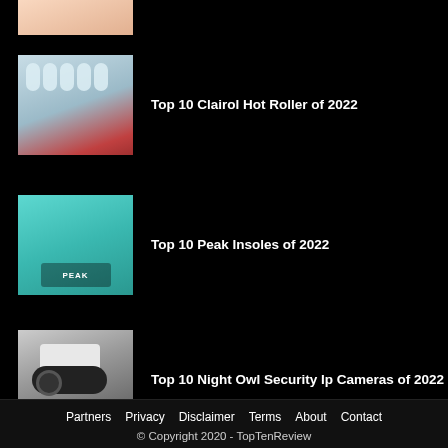[Figure (photo): Product thumbnail at top of page (partially visible)]
Top 10 Clairol Hot Roller of 2022
Top 10 Peak Insoles of 2022
Top 10 Night Owl Security Ip Cameras of 2022
Partners  Privacy  Disclaimer  Terms  About  Contact
© Copyright 2020 - TopTenReview